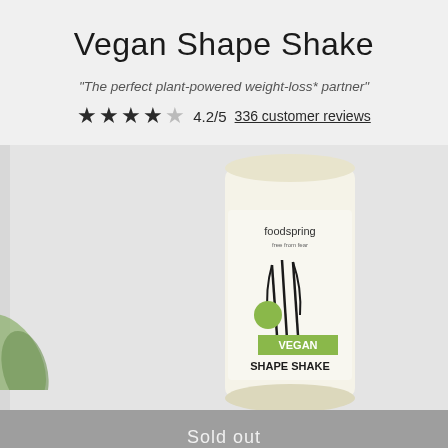Vegan Shape Shake
"The perfect plant-powered weight-loss* partner"
★★★★☆ 4.2/5  336 customer reviews
[Figure (photo): Product photo of a Vegan Shape Shake container by foodspring, white cylindrical bottle with vanilla flavor imagery and green 'VEGAN SHAPE SHAKE' label]
Sold out